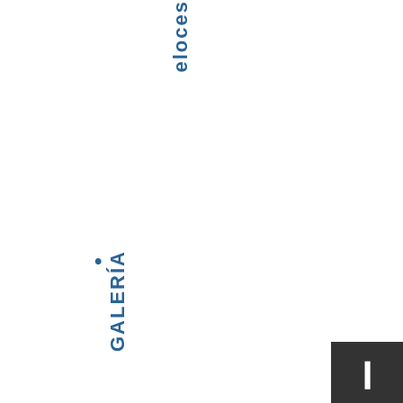eloces (continuation of previous item)
GALERÍA
BICIFERENCIA